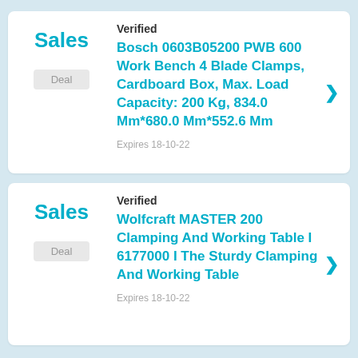Verified
Bosch 0603B05200 PWB 600 Work Bench 4 Blade Clamps, Cardboard Box, Max. Load Capacity: 200 Kg, 834.0 Mm*680.0 Mm*552.6 Mm
Sales
Deal
Expires 18-10-22
Verified
Wolfcraft MASTER 200 Clamping And Working Table I 6177000 I The Sturdy Clamping And Working Table
Sales
Deal
Expires 18-10-22